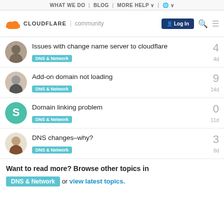WHAT WE DO | BLOG | MORE HELP ∨ | 🌐∨
[Figure (logo): Cloudflare community logo bar with Log In button, search icon, and hamburger menu]
Issues with change name server to cloudflare
DNS & Network  4  4d
Add-on domain not loading
DNS & Network  9  14d
Domain linking problem
DNS & Network  0  11d
DNS changes–why?
DNS & Network  3  8d
Want to read more? Browse other topics in DNS & Network or view latest topics.